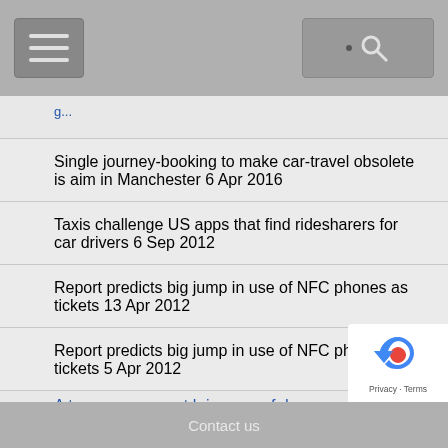Navigation bar with hamburger menu and search button
Single journey-booking to make car-travel obsolete is aim in Manchester
6 Apr 2016
Taxis challenge US apps that find ridesharers for car drivers
6 Sep 2012
Report predicts big jump in use of NFC phones as tickets
13 Apr 2012
Report predicts big jump in use of NFC phones as tickets
5 Apr 2012
Contact us